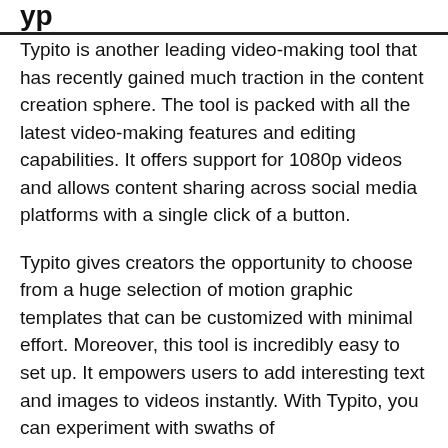yp
Typito is another leading video-making tool that has recently gained much traction in the content creation sphere. The tool is packed with all the latest video-making features and editing capabilities. It offers support for 1080p videos and allows content sharing across social media platforms with a single click of a button.
Typito gives creators the opportunity to choose from a huge selection of motion graphic templates that can be customized with minimal effort. Moreover, this tool is incredibly easy to set up. It empowers users to add interesting text and images to videos instantly. With Typito, you can experiment with swaths of